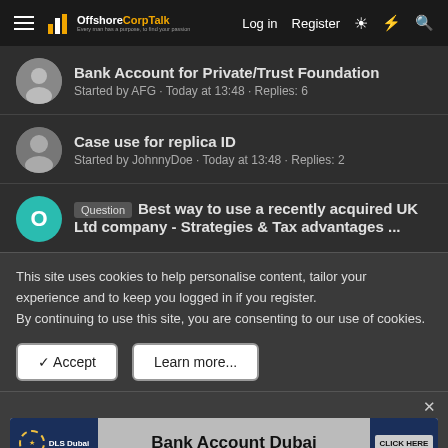OffshoreCorpTalk — Log in  Register
Bank Account for Private/Trust Foundation
Started by AFG · Today at 13:48 · Replies: 6
Case use for replica ID
Started by JohnnyDoe · Today at 13:48 · Replies: 2
Question  Best way to use a recently acquired UK Ltd company - Strategies & Tax advantages ...
This site uses cookies to help personalise content, tailor your experience and to keep you logged in if you register.
By continuing to use this site, you are consenting to our use of cookies.
✓ Accept    Learn more...
[Figure (screenshot): Advertisement banner for DLS Dubai Bank Account Dubai with CLICK HERE button]